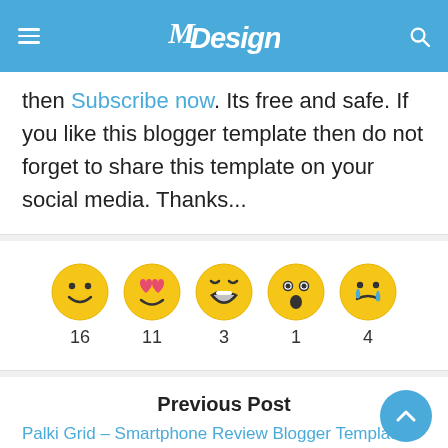MDesign
then Subscribe now. Its free and safe. If you like this blogger template then do not forget to share this template on your social media. Thanks...
[Figure (infographic): Five emoji reaction buttons with counts: smiley face (16), heart eyes (11), laughing (3), surprised (1), crying (4)]
Previous Post
Palki Grid – Smartphone Review Blogger Template
Next Post
DreamLine - Responsive Personal Blogger Template